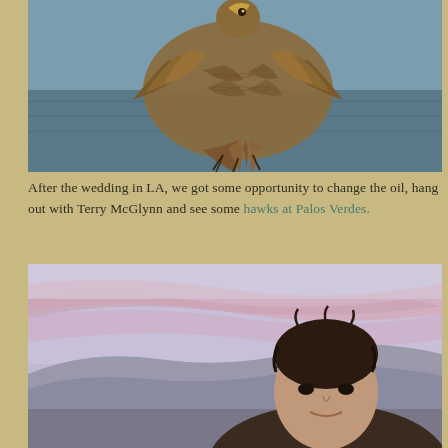[Figure (photo): A hawk photographed in flight from below, showing brown feathers and wing spread against a blurred blue-gray water/sky background]
After the wedding in LA, we got some opportunity to change the oil, hang out with Terry McGlynn and see some hawks at Palos Verdes.
[Figure (photo): A person photographed outdoors at dusk or twilight with pink and purple clouds and hills in the background]